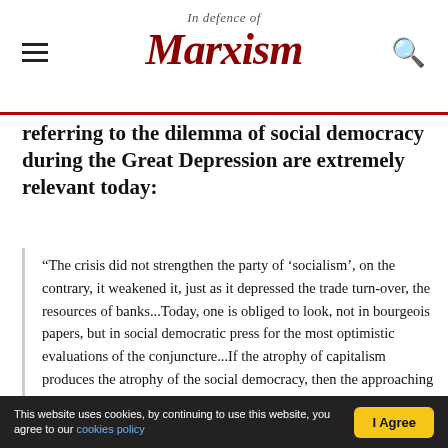In Defence of Marxism
referring to the dilemma of social democracy during the Great Depression are extremely relevant today:
“The crisis did not strengthen the party of ‘socialism’, on the contrary, it weakened it, just as it depressed the trade turn-over, the resources of banks...Today, one is obliged to look, not in bourgeois papers, but in social democratic press for the most optimistic evaluations of the conjuncture...If the atrophy of capitalism produces the atrophy of the social democracy, then the approaching death of capitalism cannot but denote the early death of the social democracy. The party that leans upon the workers but serves the bourgeoisie, in the period of the greatest sharpening of the class struggle cannot but cause the smalls
This website uses cookies, by continuing to use this website, you agree to our cookies policy